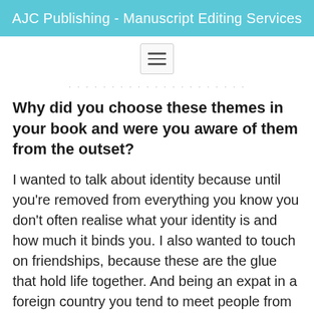AJC Publishing - Manuscript Editing Services
Why did you choose these themes in your book and were you aware of them from the outset?
I wanted to talk about identity because until you're removed from everything you know you don't often realise what your identity is and how much it binds you. I also wanted to touch on friendships, because these are the glue that hold life together. And being an expat in a foreign country you tend to meet people from all over the world, from all walks of life, many that you'd never normally strike